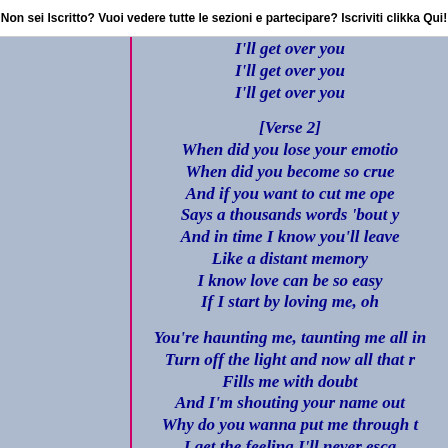Non sei Iscritto? Vuoi vedere tutte le sezioni e partecipare? Iscriviti clikka Qui!
I'll get over you
I'll get over you
I'll get over you

[Verse 2]
When did you lose your emotio
When did you become so crue
And if you want to cut me ope
Says a thousands words 'bout y
And in time I know you'll leave
Like a distant memory
I know love can be so easy
If I start by loving me, oh

You're haunting me, taunting me all in
Turn off the light and now all that r
Fills me with doubt
And I'm shouting your name out
Why do you wanna put me through t
I get the feeling I'll never esca
I can't hide away from the shame o

Tears on the ground, tears on my